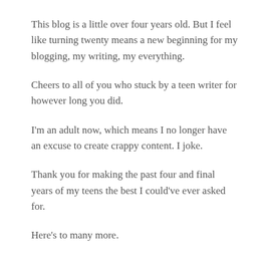This blog is a little over four years old. But I feel like turning twenty means a new beginning for my blogging, my writing, my everything.
Cheers to all of you who stuck by a teen writer for however long you did.
I'm an adult now, which means I no longer have an excuse to create crappy content. I joke.
Thank you for making the past four and final years of my teens the best I could've ever asked for.
Here's to many more.
Share this: